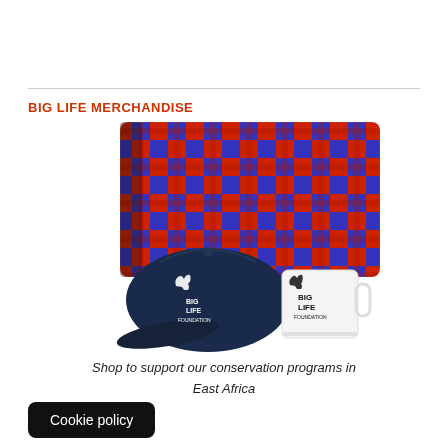BIG LIFE MERCHANDISE
[Figure (photo): Photo of Big Life Foundation merchandise: a red and blue plaid blanket/shuka in the background, a navy Big Life Foundation baseball cap in the foreground left, and a white Big Life Foundation mug in the foreground right.]
Shop to support our conservation programs in East Africa
Cookie policy